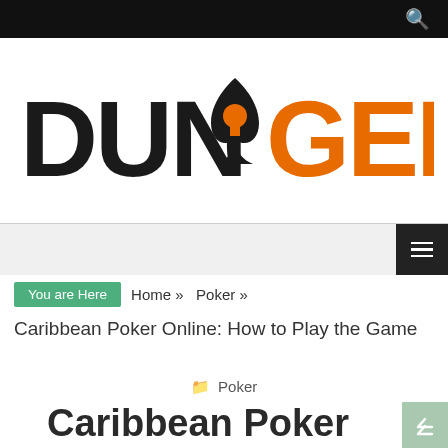DUN GENES – navigation bar with search icon
[Figure (logo): DUN GENES logo with black text 'DUN' and orange text 'GENES', with a spade+keyhole icon between them]
You are Here  Home » Poker »
Caribbean Poker Online: How to Play the Game
Poker
Caribbean Poker